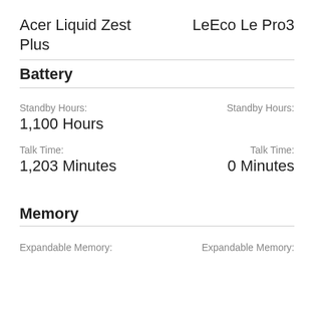Acer Liquid Zest Plus
LeEco Le Pro3
Battery
Standby Hours:
1,100 Hours
Standby Hours:
Talk Time:
1,203 Minutes
Talk Time:
0 Minutes
Memory
Expandable Memory:
Expandable Memory: